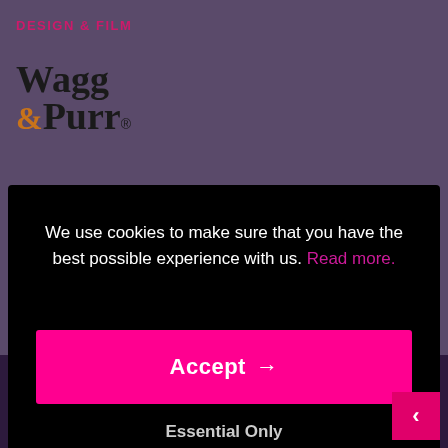DESIGN & FILM
[Figure (logo): Wagg & Purr logo with registered trademark symbol. 'Wagg' in large black serif font, '&' in orange and 'Purr' in black serif font with registered trademark symbol.]
We use cookies to make sure that you have the best possible experience with us. Read more.
Accept →
Essential Only